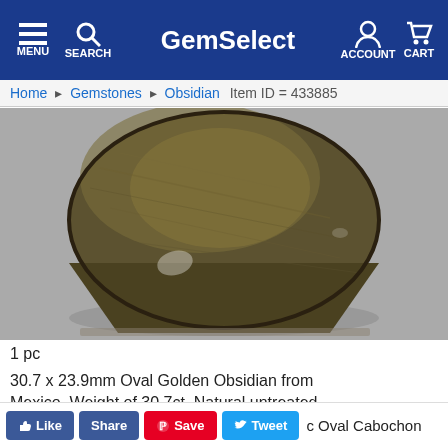GemSelect — MENU SEARCH ACCOUNT CART
Home  Gemstones  Obsidian  Item ID = 433885
[Figure (photo): Close-up photo of a large oval golden obsidian cabochon gemstone from Mexico, showing dark olive-brown color with golden sheen, smooth polished surface, on a grey background.]
1 pc
30.7 x 23.9mm Oval Golden Obsidian from Mexico. Weight of 30.7ct. Natural untreated  c Oval Cabochon